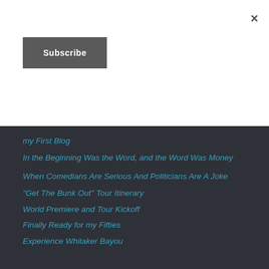×
Subscribe
my First Blog
In the Beginning Was the Word, and the Word Was Money
When Comedians Are Serious And Politicians Are A Joke
"Get The Bunk Out" Tour Itinerary
World Premiere and Tour Kickoff
Finally Ready for my Fifties
Experience Whitaker Bayou